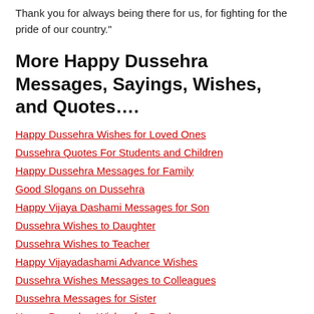Thank you for always being there for us, for fighting for the pride of our country."
More Happy Dussehra Messages, Sayings, Wishes, and Quotes….
Happy Dussehra Wishes for Loved Ones
Dussehra Quotes For Students and Children
Happy Dussehra Messages for Family
Good Slogans on Dussehra
Happy Vijaya Dashami Messages for Son
Dussehra Wishes to Daughter
Dussehra Wishes to Teacher
Happy Vijayadashami Advance Wishes
Dussehra Wishes Messages to Colleagues
Dussehra Messages for Sister
Happy Dussehra Wishes for Brother
Happy Dussehra Messages For Boyfriend